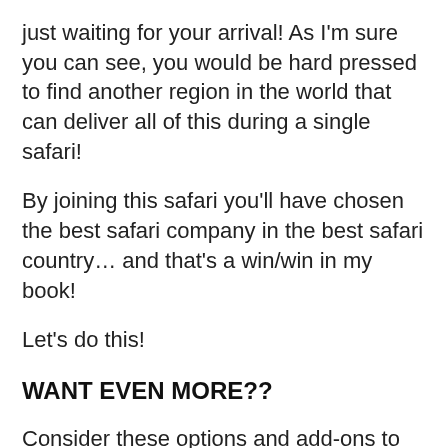just waiting for your arrival! As I'm sure you can see, you would be hard pressed to find another region in the world that can deliver all of this during a single safari!
By joining this safari you'll have chosen the best safari company in the best safari country… and that's a win/win in my book!
Let's do this!
WANT EVEN MORE??
Consider these options and add-ons to make your once-in-a-lifetime experience even more EPIC!
Experience the serenity and breathtaking beauty of the Serengeti at sunrise by adding